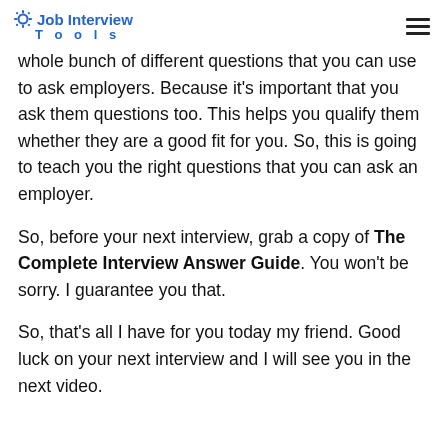Job Interview Tools
whole bunch of different questions that you can use to ask employers. Because it's important that you ask them questions too. This helps you qualify them whether they are a good fit for you. So, this is going to teach you the right questions that you can ask an employer.
So, before your next interview, grab a copy of The Complete Interview Answer Guide. You won't be sorry. I guarantee you that.
So, that's all I have for you today my friend. Good luck on your next interview and I will see you in the next video.